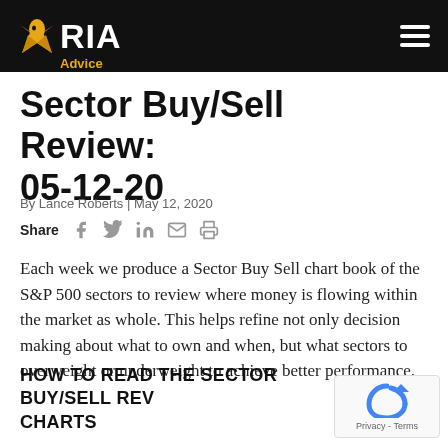RIA Advice
Sector Buy/Sell Review: 05-12-20
By Lance Roberts | May 12, 2020
Share
Each week we produce a Sector Buy Sell chart book of the S&P 500 sectors to review where money is flowing within the market as whole. This helps refine not only decision making about what to own and when, but what sectors to overweight or underweight to achieve better performance.
HOW TO READ THE SECTOR BUY/SELL REVIEW CHARTS